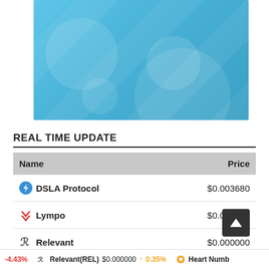[Figure (illustration): Blue banner/header image with circular bubble decorations and diagonal stripe pattern in sky blue gradient]
REAL TIME UPDATE
| Name | Price |
| --- | --- |
| DSLA Protocol | $0.003680 |
| Lympo | $0.004392 |
| Relevant | $0.000000 |
-4.43%   Relevant(REL)  $0.000000  0.35%   Heart Numb